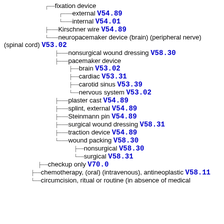fixation device
external V54.89
internal V54.01
Kirschner wire V54.89
neuropacemaker device (brain) (peripheral nerve) (spinal cord) V53.02
nonsurgical wound dressing V58.30
pacemaker device
brain V53.02
cardiac V53.31
carotid sinus V53.39
nervous system V53.02
plaster cast V54.89
splint, external V54.89
Steinmann pin V54.89
surgical wound dressing V58.31
traction device V54.89
wound packing V58.30
nonsurgical V58.30
surgical V58.31
checkup only V70.0
chemotherapy, (oral) (intravenous), antineoplastic V58.11
circumcision, ritual or routine (in absence of medical